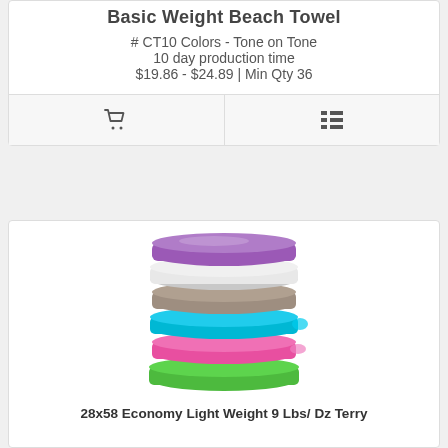[Figure (screenshot): Navigation hamburger menu button in top right corner]
Basic Weight Beach Towel
# CT10 Colors - Tone on Tone
10 day production time
$19.86 - $24.89 | Min Qty 36
[Figure (photo): Stack of colorful folded beach towels in purple, white, gray, teal, pink, and green colors]
28x58 Economy Light Weight 9 Lbs/ Dz Terry